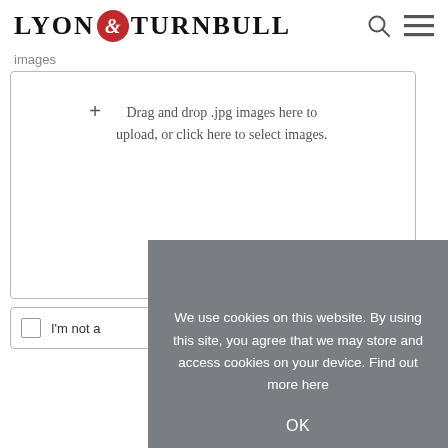[Figure (logo): Lyon & Turnbull logo with ampersand in red circle]
images
+ Drag and drop .jpg images here to upload, or click here to select images.
We use cookies on this website. By using this site, you agree that we may store and access cookies on your device. Find out more here
OK
I'm not a